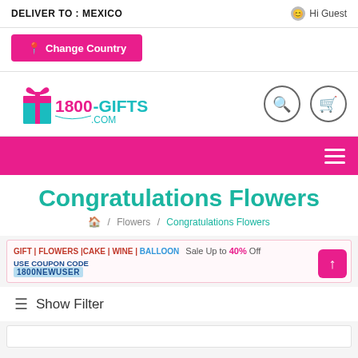DELIVER TO : MEXICO    Hi Guest
Change Country
[Figure (logo): 1800-Gifts.com logo with gift box icon]
Congratulations Flowers
Home / Flowers / Congratulations Flowers
GIFT | FLOWERS | CAKE | WINE | BALLOON   Sale Up to 40% Off   USE COUPON CODE 1800NEWUSER
Show Filter